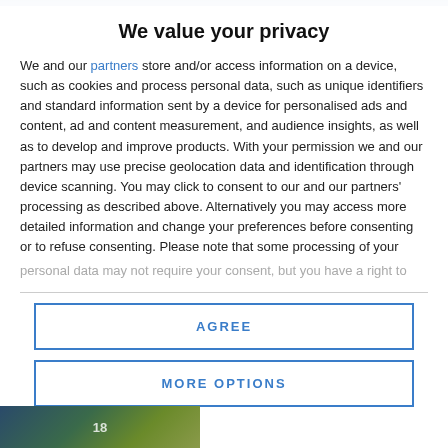We value your privacy
We and our partners store and/or access information on a device, such as cookies and process personal data, such as unique identifiers and standard information sent by a device for personalised ads and content, ad and content measurement, and audience insights, as well as to develop and improve products. With your permission we and our partners may use precise geolocation data and identification through device scanning. You may click to consent to our and our partners' processing as described above. Alternatively you may access more detailed information and change your preferences before consenting or to refuse consenting. Please note that some processing of your personal data may not require your consent, but you have a right to
AGREE
MORE OPTIONS
[Figure (photo): Partial image visible at bottom of page, appears to be a nature or landscape photograph with green and dark tones, with a number '18' visible]